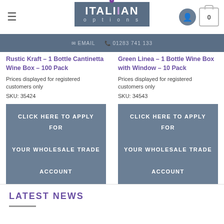Italian Options – EMAIL | 01283 741 133
Rustic Kraft – 1 Bottle Cantinetta Wine Box – 100 Pack
Prices displayed for registered customers only
SKU: 35424
Green Linea – 1 Bottle Wine Box with Window – 10 Pack
Prices displayed for registered customers only
SKU: 34543
CLICK HERE TO APPLY FOR YOUR WHOLESALE TRADE ACCOUNT
CLICK HERE TO APPLY FOR YOUR WHOLESALE TRADE ACCOUNT
LATEST NEWS